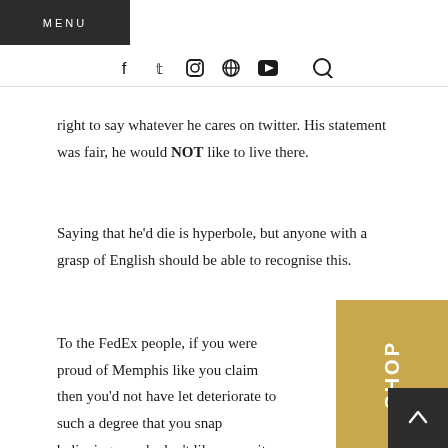MENU
[Figure (other): Social media icon bar: Facebook, Twitter, Instagram, Pinterest, YouTube, and Search icons]
right to say whatever he cares on twitter. His statement was fair, he would NOT like to live there.
Saying that he'd die is hyperbole, but anyone with a grasp of English should be able to recognise this.
To the FedEx people, if you were proud of Memphis like you claim then you'd not have let deteriorate to such a degree that you snap believing people don't like your city.